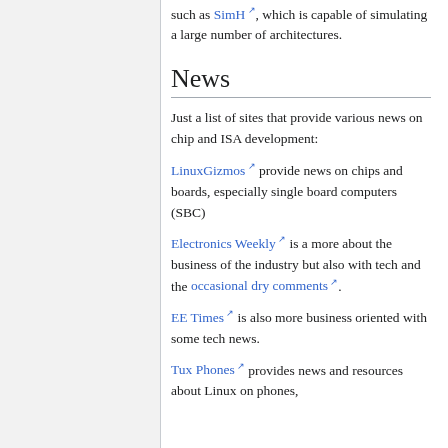such as SimH, which is capable of simulating a large number of architectures.
News
Just a list of sites that provide various news on chip and ISA development:
LinuxGizmos provide news on chips and boards, especially single board computers (SBC)
Electronics Weekly is a more about the business of the industry but also with tech and the occasional dry comments.
EE Times is also more business oriented with some tech news.
Tux Phones provides news and resources about Linux on phones,